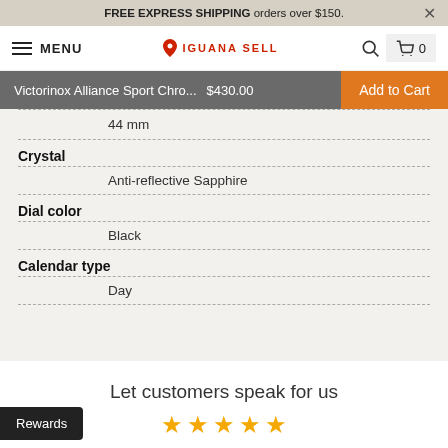FREE EXPRESS SHIPPING orders over $150.
MENU  IGUANA SELL  0
Victorinox Alliance Sport Chro... $430.00  Add to Cart
44 mm
Crystal
Anti-reflective Sapphire
Dial color
Black
Calendar type
Day
Let customers speak for us
★★★★★
Rewards